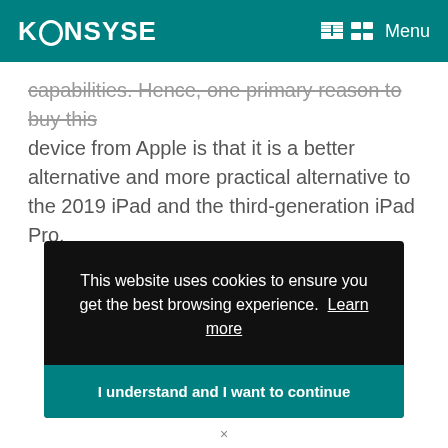KONSYSE  Menu
capabilities. Hence, one primary reason to buy this device from Apple is that it is a better alternative and more practical alternative to the 2019 iPad and the third-generation iPad Pro.
This website uses cookies to ensure you get the best browsing experience.  Learn more
I understand and I want to continue